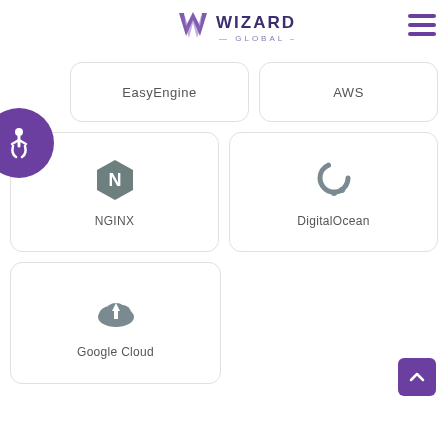[Figure (logo): Wizards Global logo with purple W chevron and text WIZARDS GLOBAL]
[Figure (illustration): Purple circular accessibility icon with wheelchair symbol]
[Figure (illustration): Service card showing EasyEngine label]
[Figure (illustration): Service card showing AWS label]
[Figure (illustration): Service card with NGINX hexagon logo and NGINX label]
[Figure (illustration): Service card with DigitalOcean circular arrow logo and DigitalOcean label]
[Figure (illustration): Service card with Google Cloud icon and Google Cloud label]